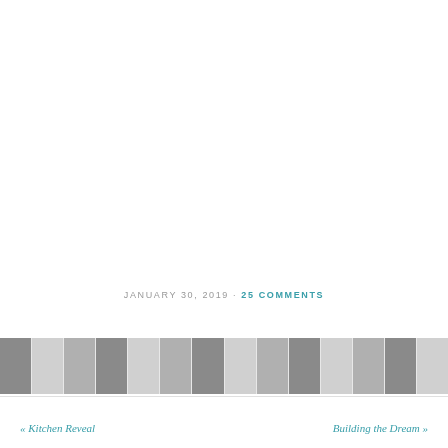JANUARY 30, 2019 · 25 COMMENTS
[Figure (photo): Horizontal strip of small thumbnail images in grayscale tones]
« Kitchen Reveal    Building the Dream »